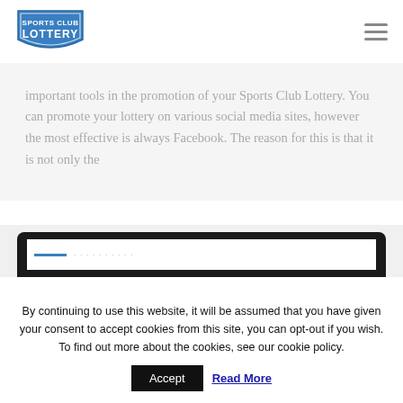Sports Club Lottery
important tools in the promotion of your Sports Club Lottery. You can promote your lottery on various social media sites, however the most effective is always Facebook. The reason for this is that it is not only the
[Figure (screenshot): Partial screenshot of a browser window showing a webpage, with a black rounded-top browser chrome and white page content area with a blue element visible.]
By continuing to use this website, it will be assumed that you have given your consent to accept cookies from this site, you can opt-out if you wish. To find out more about the cookies, see our cookie policy. Accept Read More